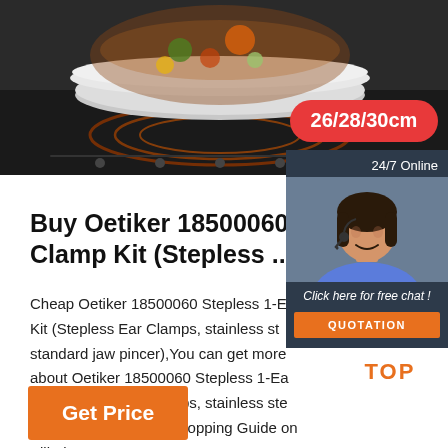[Figure (photo): Product photo showing a cooking pot/wok on an induction cooker with food inside, dark background. A red badge with '26/28/30cm' is overlaid in the top right.]
[Figure (photo): Chat widget on right side showing a smiling female customer service agent wearing a headset, on dark blue background. Text '24/7 Online', 'Click here for free chat!', and an orange 'QUOTATION' button.]
Buy Oetiker 18500060 Stepless Clamp Kit (Stepless ...
Cheap Oetiker 18500060 Stepless 1-Ear Kit (Stepless Ear Clamps, stainless steel, standard jaw pincer),You can get more details about Oetiker 18500060 Stepless 1-Ear Kit (Stepless Ear Clamps, stainless steel, standard jaw pincer):Shopping Guide on Alibaba.com
[Figure (illustration): Orange 'TOP' button with three orange dots arranged in an arc above the text.]
Get Price